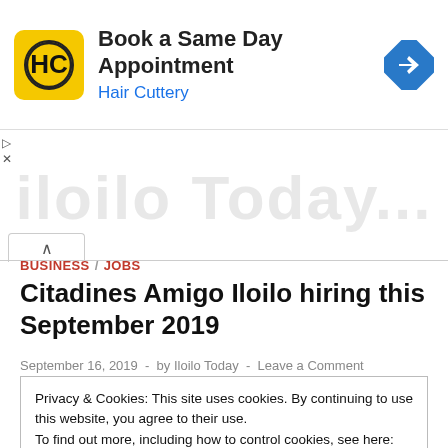[Figure (screenshot): Hair Cuttery advertisement banner with yellow logo, text 'Book a Same Day Appointment' and 'Hair Cuttery', and a blue navigation diamond icon]
[Figure (other): Watermark with Iloilo Today text in light gray]
BUSINESS / JOBS
Citadines Amigo Iloilo hiring this September 2019
September 16, 2019  -  by Iloilo Today  -  Leave a Comment
Privacy & Cookies: This site uses cookies. By continuing to use this website, you agree to their use.
To find out more, including how to control cookies, see here: Cookie Policy